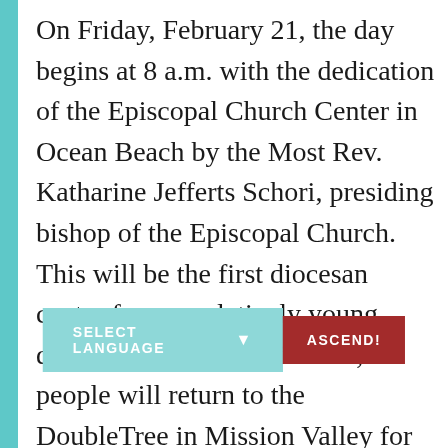On Friday, February 21, the day begins at 8 a.m. with the dedication of the Episcopal Church Center in Ocean Beach by the Most Rev. Katharine Jefferts Schori, presiding bishop of the Episcopal Church. This will be the first diocesan center for our relatively young diocese. After the dedication, people will return to the DoubleTree in Mission Valley for workshops, budget and resolution hearings, and opening business. That evening, the capital campaign invites all members [to] celeb[rate] the 40th anniversary and the kick-off of the